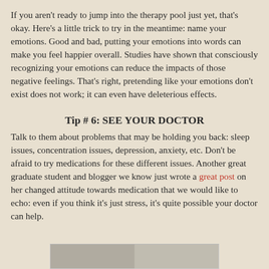If you aren't ready to jump into the therapy pool just yet, that's okay. Here's a little trick to try in the meantime: name your emotions. Good and bad, putting your emotions into words can make you feel happier overall. Studies have shown that consciously recognizing your emotions can reduce the impacts of those negative feelings. That's right, pretending like your emotions don't exist does not work; it can even have deleterious effects.
Tip # 6: SEE YOUR DOCTOR
Talk to them about problems that may be holding you back: sleep issues, concentration issues, depression, anxiety, etc. Don't be afraid to try medications for these different issues. Another great graduate student and blogger we know just wrote a great post on her changed attitude towards medication that we would like to echo: even if you think it's just stress, it's quite possible your doctor can help.
[Figure (photo): Partial photo visible at bottom of page]